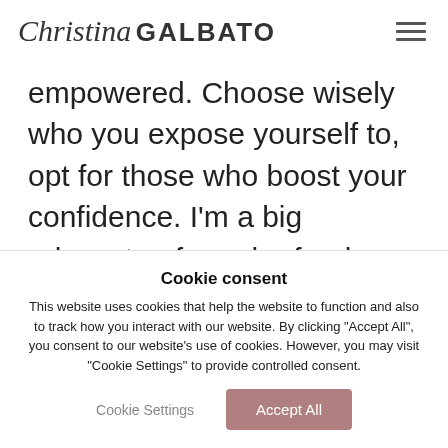Christina GALBATO
empowered. Choose wisely who you expose yourself to, opt for those who boost your confidence. I'm a big advocate of regular feed clear-outs, every so often I'll scroll through and unfollow anyone who
Cookie consent
This website uses cookies that help the website to function and also to track how you interact with our website. By clicking "Accept All", you consent to our website's use of cookies. However, you may visit "Cookie Settings" to provide controlled consent.
Cookie Settings | Accept All